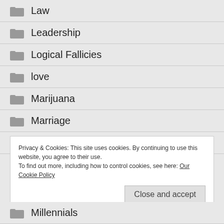Law
Leadership
Logical Fallicies
love
Marijuana
Marriage
Mass Media
Privacy & Cookies: This site uses cookies. By continuing to use this website, you agree to their use.
To find out more, including how to control cookies, see here: Our Cookie Policy
Millennials